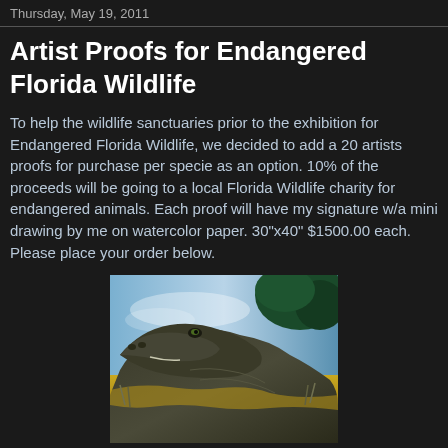Thursday, May 19, 2011
Artist Proofs for Endangered Florida Wildlife
To help the wildlife sanctuaries prior to the exhibition for Endangered Florida Wildlife, we decided to add a 20 artists proofs for purchase per specie as an option. 10% of the proceeds will be going to a local Florida Wildlife charity for endangered animals. Each proof will have my signature w/a mini drawing by me on watercolor paper. 30"x40" $1500.00 each. Please place your order below.
[Figure (photo): Close-up painting/photograph of an alligator's head and upper body viewed from the side, with a colorful background featuring blue sky, green foliage, and yellow-golden ground, rendered in a painterly style.]